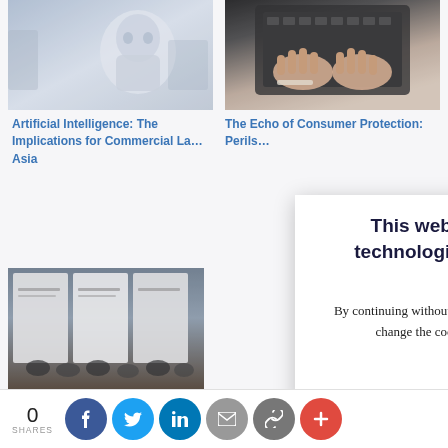[Figure (photo): Robot/AI humanoid figure in an office setting, blue-grey tones]
[Figure (photo): Hands typing on a laptop keyboard, top-down view]
Artificial Intelligence: The Implications for Commercial La… Asia
The Echo of Consumer Protection: Perils…
[Figure (photo): Group of students standing in front of research posters at SMU Techfest]
SMU Techfest … Preferred AI Sh…
This website uses cookies as well as similar tools and technologies to identify, understand and improve visitors' experiences. By continuing without changing your cookie settings, we assume that you agree to this. Otherwise, you may change the cookie setting in your browser. To find out more, please visit our cookies policy.
CLOSE
0
SHARES